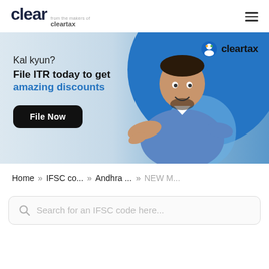clear from the makers of cleartax
[Figure (infographic): ClearTax promotional banner. Light blue background with large blue circle. Text: 'Kal kyun?' and 'File ITR today to get amazing discounts' with a 'File Now' button. Man in blue blazer gesturing. ClearTax logo in top right.]
Home >> IFSC co... >> Andhra ... >> NEW M...
Search for an IFSC code here...